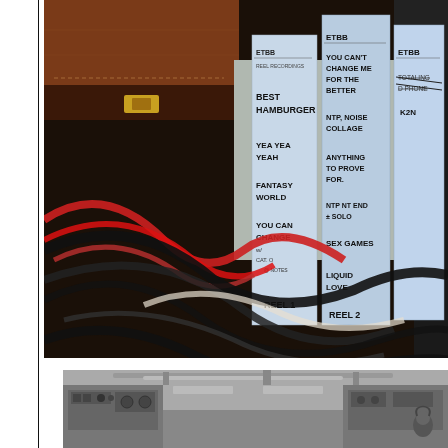[Figure (photo): Color photograph of magnetic tape reels/cassette boxes with handwritten labels reading ETBB, BEST HAMBURGER, YEA YEA YEAH, FANTASY WORLD, YOU CAN CHANGE, YOU CAN'T CHANGE ME FOR THE BETTER, NTP NOISE COLLAGE, ANYTHING TO PROVE FOR., NTP NT END SOLO, SEX GAMES, LIQUID LOVE, REEL 1, REEL 2, TOTALING D PHONE, KEN. Brown leather case visible on left; coiled red and black cables in foreground.]
[Figure (photo): Black and white photograph of a recording studio or radio room interior with reel-to-reel tape machines, control panels, and a person wearing headphones visible.]